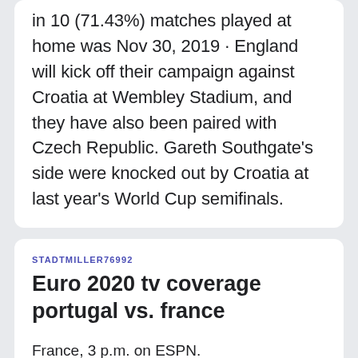in 10 (71.43%) matches played at home was Nov 30, 2019 · England will kick off their campaign against Croatia at Wembley Stadium, and they have also been paired with Czech Republic. Gareth Southgate's side were knocked out by Croatia at last year's World Cup semifinals.
STADTMILLER76992
Euro 2020 tv coverage portugal vs. france
France, 3 p.m. on ESPN.